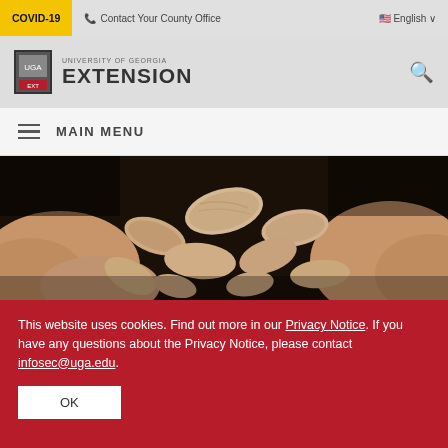COVID-19  Contact Your County Office  English
[Figure (logo): University of Georgia Extension logo with shield icon, text 'UNIVERSITY OF GEORGIA EXTENSION']
MAIN MENU
[Figure (photo): Close-up photo of hands holding raw peanuts in shells]
This website uses cookies. Find out more in our Privacy Notice. If you have any questions about the Privacy Notice, please contact infosec@uga.edu.
OK